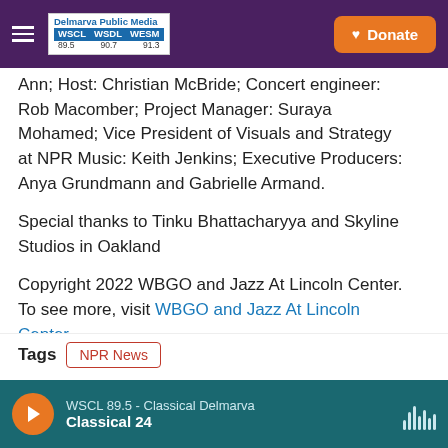Delmarva Public Media WSCL WSDL WESM 89.5 90.7 91.3 | Donate
Ann; Host: Christian McBride; Concert engineer: Rob Macomber; Project Manager: Suraya Mohamed; Vice President of Visuals and Strategy at NPR Music: Keith Jenkins; Executive Producers: Anya Grundmann and Gabrielle Armand.
Special thanks to Tinku Bhattacharyya and Skyline Studios in Oakland
Copyright 2022 WBGO and Jazz At Lincoln Center. To see more, visit WBGO and Jazz At Lincoln Center.
Tags  NPR News
WSCL 89.5 - Classical Delmarva | Classical 24